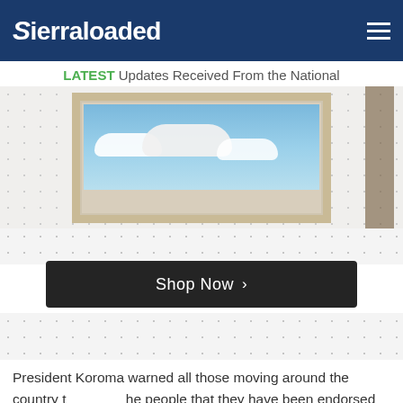Sierraloaded
LATEST Updates Received From the National
[Figure (photo): Advertisement image showing a TV or frame with a sky and clouds scene, with a dark-colored sidebar panel visible on the right]
[Figure (screenshot): Shop Now button with right arrow chevron on dark background]
President Koroma warned all those moving around the country telling the people that they have been endorsed by him to abstain from such a deceitful act. He said this time his is still fighting ebola and it is not time for politics.